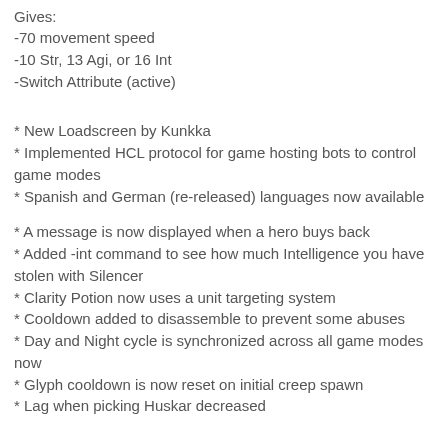Gives:
-70 movement speed
-10 Str, 13 Agi, or 16 Int
-Switch Attribute (active)
* New Loadscreen by Kunkka
* Implemented HCL protocol for game hosting bots to control game modes
* Spanish and German (re-released) languages now available
* A message is now displayed when a hero buys back
* Added -int command to see how much Intelligence you have stolen with Silencer
* Clarity Potion now uses a unit targeting system
* Cooldown added to disassemble to prevent some abuses
* Day and Night cycle is synchronized across all game modes now
* Glyph cooldown is now reset on initial creep spawn
* Lag when picking Huskar decreased